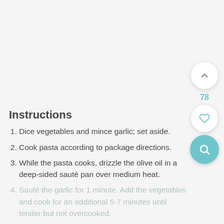Instructions
Dice vegetables and mince garlic; set aside.
Cook pasta according to package directions.
While the pasta cooks, drizzle the olive oil in a deep-sided sauté pan over medium heat.
Sauté the garlic for 1 minute. Add the vegetables and cook for an additional 5-7 minutes until tender but not overcooked.